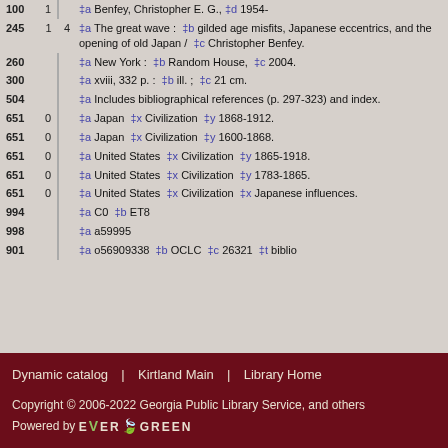| 100 | 1 |  | ‡a Benfey, Christopher E. G., ‡d 1954- |
| 245 | 1 | 4 | ‡a The great wave : ‡b gilded age misfits, Japanese eccentrics, and the opening of old Japan / ‡c Christopher Benfey. |
| 260 |  |  | ‡a New York : ‡b Random House, ‡c 2004. |
| 300 |  |  | ‡a xviii, 332 p. : ‡b ill. ; ‡c 21 cm. |
| 504 |  |  | ‡a Includes bibliographical references (p. 297-323) and index. |
| 651 | 0 |  | ‡a Japan ‡x Civilization ‡y 1868-1912. |
| 651 | 0 |  | ‡a Japan ‡x Civilization ‡y 1600-1868. |
| 651 | 0 |  | ‡a United States ‡x Civilization ‡y 1865-1918. |
| 651 | 0 |  | ‡a United States ‡x Civilization ‡y 1783-1865. |
| 651 | 0 |  | ‡a United States ‡x Civilization ‡x Japanese influences. |
| 994 |  |  | ‡a C0 ‡b ET8 |
| 998 |  |  | ‡a a59995 |
| 901 |  |  | ‡a o56909338 ‡b OCLC ‡c 26321 ‡t biblio |
Dynamic catalog | Kirtland Main | Library Home
Copyright © 2006-2022 Georgia Public Library Service, and others
Powered by EVERGREEN